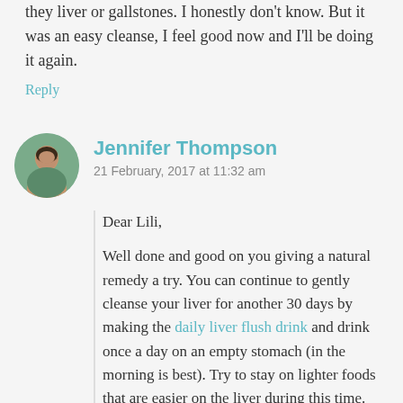they liver or gallstones. I honestly don't know. But it was an easy cleanse, I feel good now and I'll be doing it again.
Reply
Jennifer Thompson
21 February, 2017 at 11:32 am
Dear Lili,
Well done and good on you giving a natural remedy a try. You can continue to gently cleanse your liver for another 30 days by making the daily liver flush drink and drink once a day on an empty stomach (in the morning is best). Try to stay on lighter foods that are easier on the liver during this time. Carrot, beets, celery…